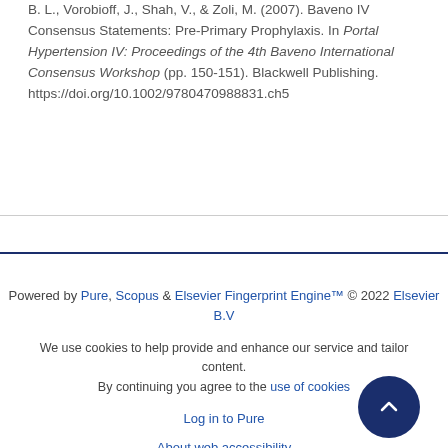B. L., Vorobioff, J., Shah, V., & Zoli, M. (2007). Baveno IV Consensus Statements: Pre-Primary Prophylaxis. In Portal Hypertension IV: Proceedings of the 4th Baveno International Consensus Workshop (pp. 150-151). Blackwell Publishing. https://doi.org/10.1002/9780470988831.ch5
Powered by Pure, Scopus & Elsevier Fingerprint Engine™ © 2022 Elsevier B.V
We use cookies to help provide and enhance our service and tailor content. By continuing you agree to the use of cookies
Log in to Pure
About web accessibility
Contact us